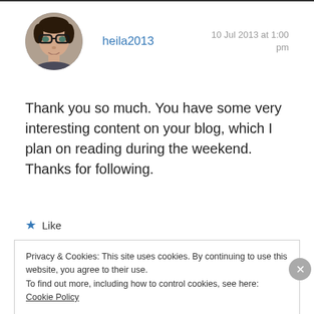[Figure (photo): Circular avatar photo of a woman with glasses, dark hair]
heila2013
10 Jul 2013 at 1:00 pm
Thank you so much. You have some very interesting content on your blog, which I plan on reading during the weekend. Thanks for following.
★ Like
Privacy & Cookies: This site uses cookies. By continuing to use this website, you agree to their use.
To find out more, including how to control cookies, see here: Cookie Policy
Close and accept